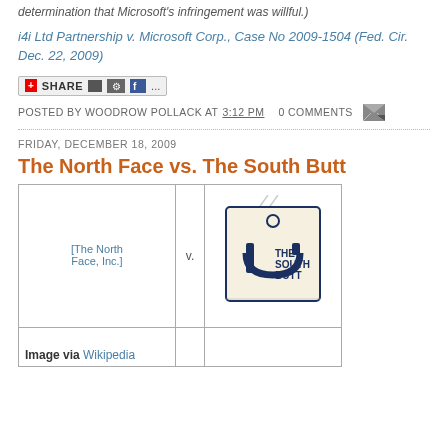determination that Microsoft's infringement was willful.)
i4i Ltd Partnership v. Microsoft Corp., Case No 2009-1504 (Fed. Cir. Dec. 22, 2009)
[Figure (screenshot): Share button with social media icons]
POSTED BY WOODROW POLLACK AT 3:12 PM   0 COMMENTS
FRIDAY, DECEMBER 18, 2009
The North Face vs. The South Butt
| The North Face, Inc. | v. | The South Butt logo |
| --- | --- | --- |
| Image via Wikipedia |  |  |